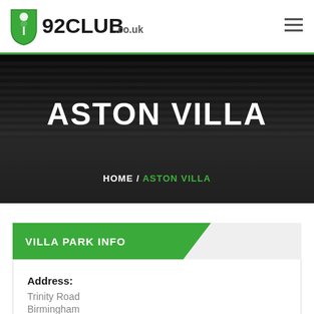92CLUB.co.uk
ASTON VILLA
HOME / ASTON VILLA
VILLA PARK INFO
Address:
Trinity Road
Birmingham